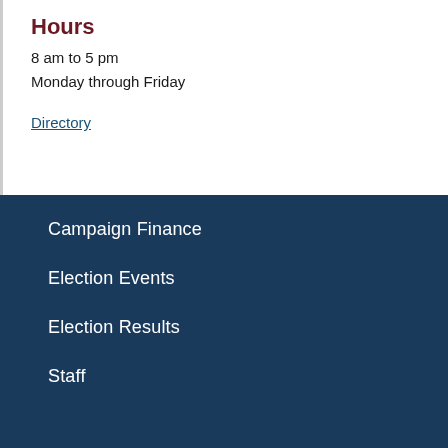Hours
8 am to 5 pm
Monday through Friday
Directory
Campaign Finance
Election Events
Election Results
Staff